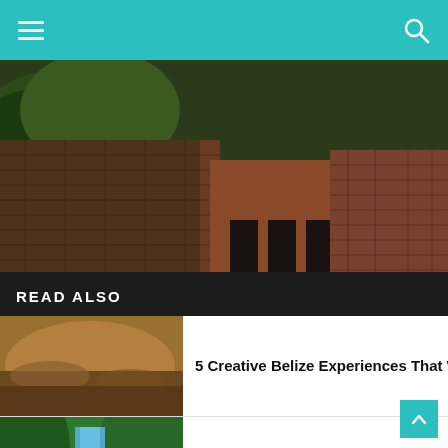Navigation bar with hamburger menu and search icon
[Figure (photo): Large hero photo of an old brick building/ruin with arched openings, surrounded by vegetation. The structure has dark red/brown brick walls with moss growth.]
READ ALSO
[Figure (photo): Thumbnail photo showing what appears to be sand or ground material in brown/tan tones]
5 Creative Belize Experiences That Will Bring...
[Figure (photo): Thumbnail photo showing a waterfall in a green jungle/forest setting with blue water]
Enjoy The Last Of Summer In Belize...
[Figure (photo): Thumbnail photo showing the cover of HE BELIZE OLD BOOK COMING 2023 SIGN UP book in blue tones]
A New Belize Gold Book Is Coming...
n Culture and Lifestyle
Social media icons: LinkedIn, YouTube